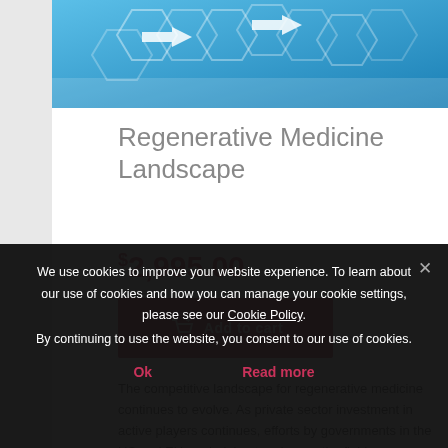[Figure (illustration): Blue hexagonal technology pattern with white arrows on a gradient blue background]
Regenerative Medicine Landscape
$2,995.00
Add to cart
The competitive landscape for regenerative medicine continues to evolve. As private sector investment in active players continues, efforts by governments in the US and EU are helping to advance the field.
We use cookies to improve your website experience. To learn about our use of cookies and how you can manage your cookie settings, please see our Cookie Policy.
By continuing to use the website, you consent to our use of cookies.
Ok
Read more